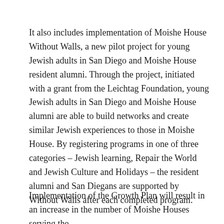It also includes implementation of Moishe House Without Walls, a new pilot project for young Jewish adults in San Diego and Moishe House resident alumni. Through the project, initiated with a grant from the Leichtag Foundation, young Jewish adults in San Diego and Moishe House alumni are able to build networks and create similar Jewish experiences to those in Moishe House. By registering programs in one of three categories – Jewish learning, Repair the World and Jewish Culture and Holidays – the resident alumni and San Diegans are supported by Without Walls after each completed program.
Implementation of the Growth Plan will result in an increase in the number of Moishe Houses serving the